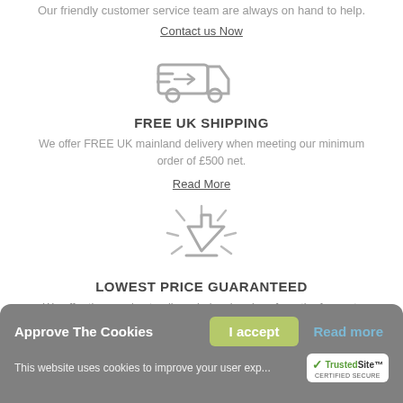Our friendly customer service team are always on hand to help.
Contact us Now
[Figure (illustration): Delivery truck icon with speed lines]
FREE UK SHIPPING
We offer FREE UK mainland delivery when meeting our minimum order of £500 net.
Read More
[Figure (illustration): Lowest price guaranteed starburst/arrow icon]
LOWEST PRICE GUARANTEED
We offer the very best online wholesale prices from the far east.
Browse new arrivals
Approve The Cookies
I accept
Read more
This website uses cookies to improve your user exp...